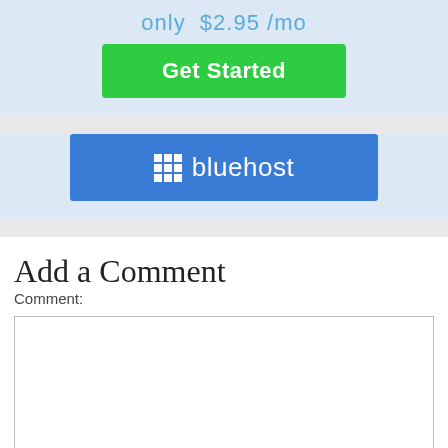only $2.95 /mo
[Figure (screenshot): Green 'Get Started' button]
[Figure (screenshot): Bluehost blue banner with grid icon and 'bluehost' text in white]
Add a Comment
Comment:
[Figure (screenshot): Empty comment text area input box]